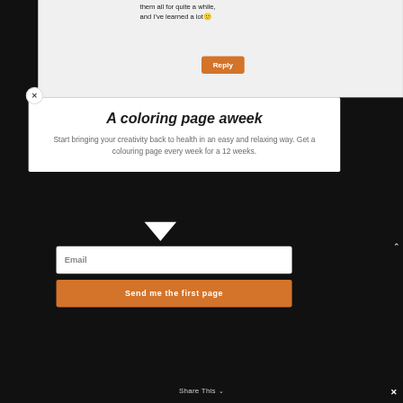them all for quite a while, and I've learned a lot🙂
[Figure (screenshot): Orange Reply button]
[Figure (screenshot): White close (X) circle button overlay]
A coloring page aweek
Start bringing your creativity back to health in an easy and relaxing way. Get a colouring page every week for a 12 weeks.
Email
Send me the first page
Share This ∨